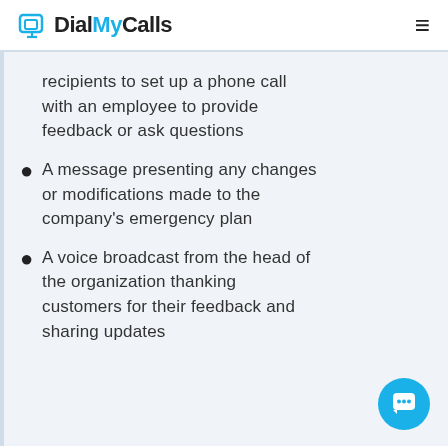DialMyCalls
recipients to set up a phone call with an employee to provide feedback or ask questions
A message presenting any changes or modifications made to the company's emergency plan
A voice broadcast from the head of the organization thanking customers for their feedback and sharing updates